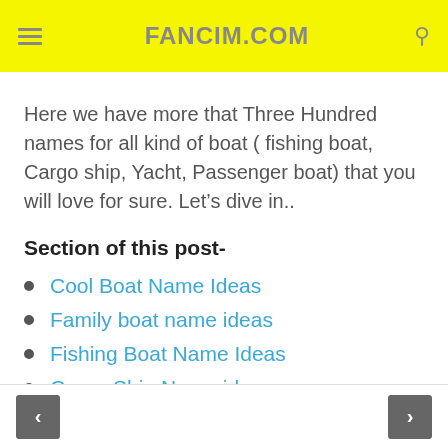FANCIM.COM
Here we have more that Three Hundred names for all kind of boat ( fishing boat, Cargo ship, Yacht, Passenger boat) that you will love for sure. Let’s dive in..
Section of this post-
Cool Boat Name Ideas
Family boat name ideas
Fishing Boat Name Ideas
Cargo Ship Name ideas
< >